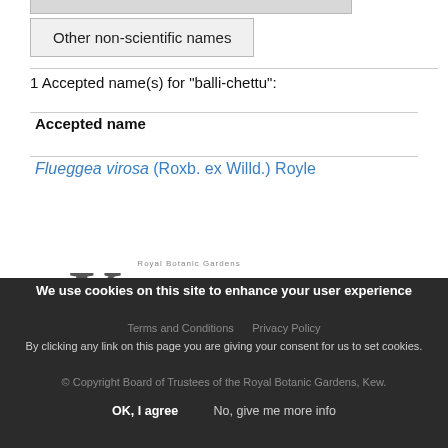| Other non-scientific names |
| --- |
1 Accepted name(s) for "balli-chettu":
Accepted name
Flueggea virosa (Roxb. ex Willd.) Royle
[Figure (logo): Kew Science logo — Royal Botanic Gardens Kew science wordmark]
We use cookies on this site to enhance your user experience
By clicking any link on this page you are giving your consent for us to set cookies.
Terms and Conditions   Privacy Policy
© Copyright Board of Trustees of the Royal Botanic Gardens, Kew.
OK, I agree   No, give me more info